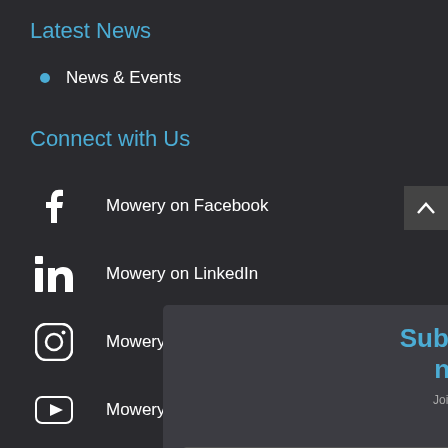Latest News
News & Events
Connect with Us
Mowery on Facebook
Mowery on LinkedIn
Mowery on Instagram
Mowery on YouTube
[Figure (screenshot): Subscribe to our newsletter popup overlay with title, subtitle text, and First Name input field]
[Figure (logo): Google reCAPTCHA badge with Privacy and Terms links]